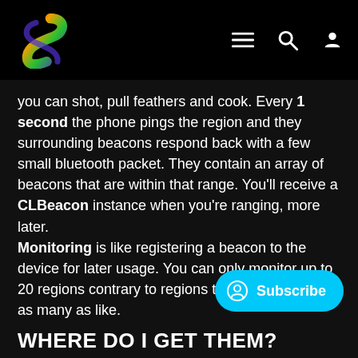Swifty — navigation header with logo and icons
you can shot, pull feathers and cook. Every 1 second the phone pings the region and they surrounding beacons respond back with a few small bluetooth packet. They contain an array of beacons that are within that range. You'll receive a CLBeacon instance when you're ranging, more later.
Monitoring is like registering a beacon to the device for later usage. You can only monitor up to 20 regions contrary to regions that you can have as many as like.
WHERE DO I GET THEM?